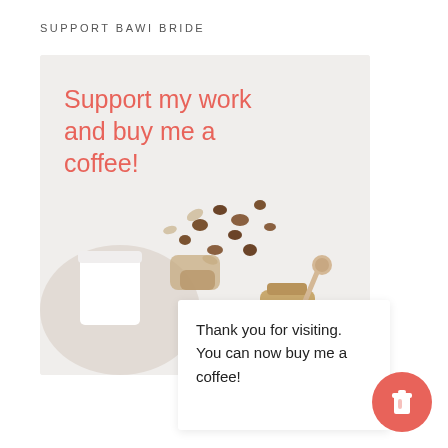SUPPORT BAWI BRIDE
[Figure (photo): Photo card with coffee/granola flatlay image on a light background, with overlaid text 'Support my work and buy me a coffee!' in coral/salmon color. Below the photo is a white card with 'Thank you for visiting. You can now buy me a coffee!' and a coral circular coffee cup icon button.]
Support my work and buy me a coffee!
Thank you for visiting. You can now buy me a coffee!